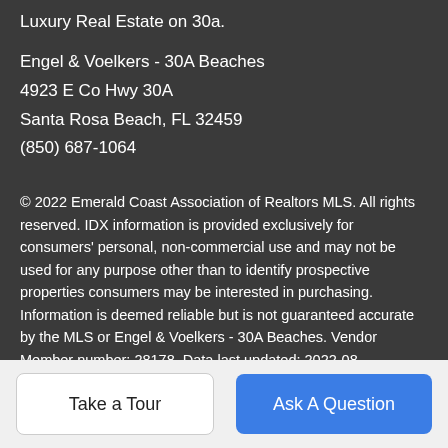Luxury Real Estate on 30a.
Engel & Voelkers - 30A Beaches
4923 E Co Hwy 30A
Santa Rosa Beach, FL 32459
(850) 687-1064
© 2022 Emerald Coast Association of Realtors MLS. All rights reserved. IDX information is provided exclusively for consumers' personal, non-commercial use and may not be used for any purpose other than to identify prospective properties consumers may be interested in purchasing. Information is deemed reliable but is not guaranteed accurate by the MLS or Engel & Voelkers - 30A Beaches. Vendor Member number: 28178. Data last updated: 2022-08-20T16:59:25.107.
Vendor Member #28178
Take a Tour
Ask A Question